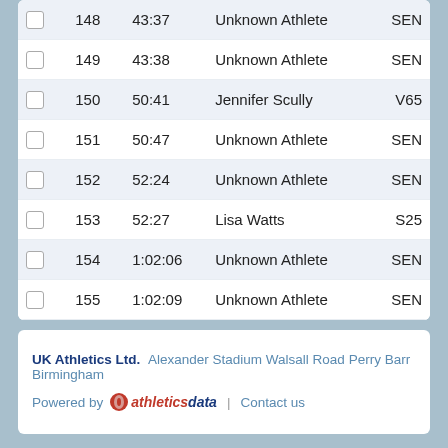|  | Pos | Time | Name | Cat |
| --- | --- | --- | --- | --- |
|  | 148 | 43:37 | Unknown Athlete | SEN |
|  | 149 | 43:38 | Unknown Athlete | SEN |
|  | 150 | 50:41 | Jennifer Scully | V65 |
|  | 151 | 50:47 | Unknown Athlete | SEN |
|  | 152 | 52:24 | Unknown Athlete | SEN |
|  | 153 | 52:27 | Lisa Watts | S25 |
|  | 154 | 1:02:06 | Unknown Athlete | SEN |
|  | 155 | 1:02:09 | Unknown Athlete | SEN |
UK Athletics Ltd.   Alexander Stadium Walsall Road Perry Barr Birmingham
Powered by athleticsdata | Contact us